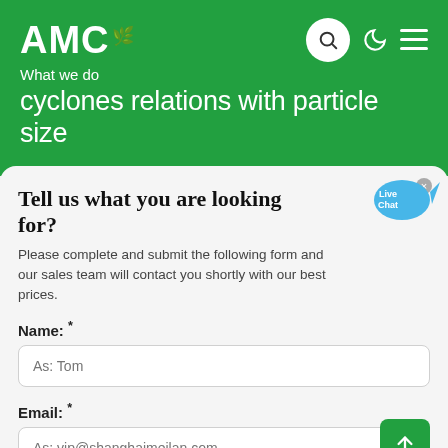AMC
What we do
cyclones relations with particle size
Tell us what you are looking for?
Please complete and submit the following form and our sales team will contact you shortly with our best prices.
Name: *
As: Tom
Email: *
As: vip@shanghaimeilan.com
Phone: *
With Country Code